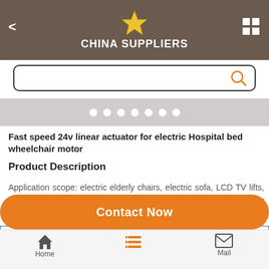CHINA SUPPLIERS
Fast speed 24v linear actuator for electric Hospital bed wheelchair motor
Product Description
Application scope: electric elderly chairs, electric sofa, LCD TV lifts, massage chairs, dental chairs and other needs of the linear operation of the occasion
| Stroke length |  |
| --- | --- |
| Free load max speed |  |
Contact Now
Home  Mail